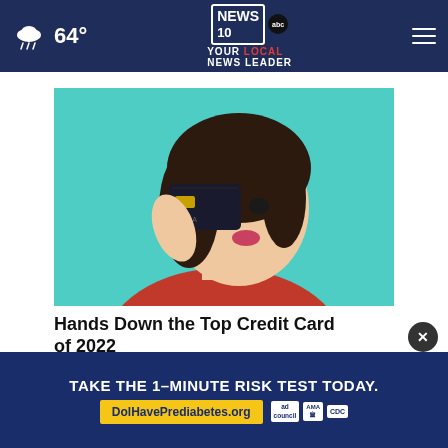64° NEWS 10 YOUR LOCAL NEWS LEADER
[Figure (photo): Woman holding a dark credit card over one eye, smiling, against a teal background]
Hands Down the Top Credit Card of 2022
Ad by CompareCredit
MORE STORIES >
[Figure (photo): CVS pharmacy card thumbnail]
Signify for
[Figure (infographic): Bottom banner ad: TAKE THE 1-MINUTE RISK TEST TODAY. DolHavePrediabetes.org with ad council, AMA, CDC logos]